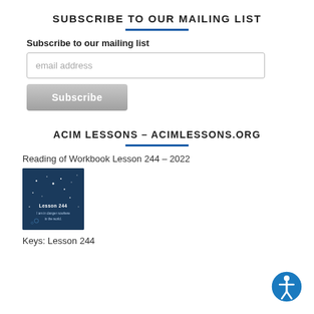SUBSCRIBE TO OUR MAILING LIST
Subscribe to our mailing list
email address
Subscribe
ACIM LESSONS – ACIMLESSONS.ORG
Reading of Workbook Lesson 244 – 2022
[Figure (illustration): Dark blue thumbnail image for Workbook Lesson 244, showing stars and text on a dark background.]
Keys: Lesson 244